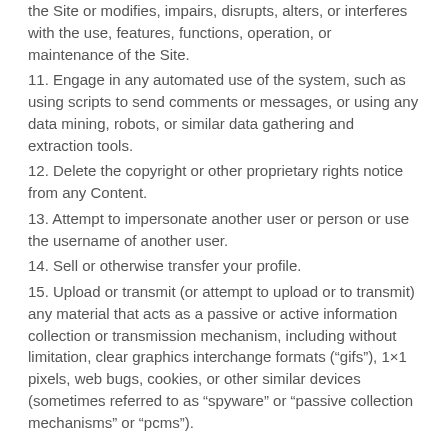the Site or modifies, impairs, disrupts, alters, or interferes with the use, features, functions, operation, or maintenance of the Site.
11. Engage in any automated use of the system, such as using scripts to send comments or messages, or using any data mining, robots, or similar data gathering and extraction tools.
12. Delete the copyright or other proprietary rights notice from any Content.
13. Attempt to impersonate another user or person or use the username of another user.
14. Sell or otherwise transfer your profile.
15. Upload or transmit (or attempt to upload or to transmit) any material that acts as a passive or active information collection or transmission mechanism, including without limitation, clear graphics interchange formats (“gifs”), 1×1 pixels, web bugs, cookies, or other similar devices (sometimes referred to as “spyware” or “passive collection mechanisms” or “pcms”).